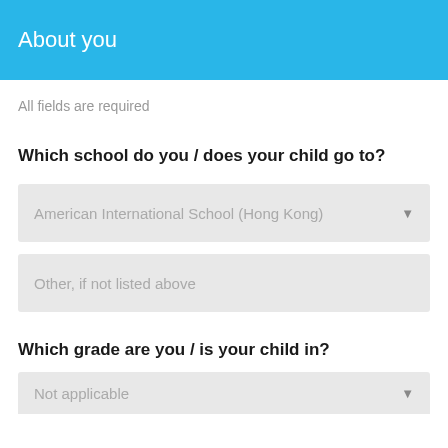About you
All fields are required
Which school do you / does your child go to?
American International School (Hong Kong)
Other, if not listed above
Which grade are you / is your child in?
Not applicable